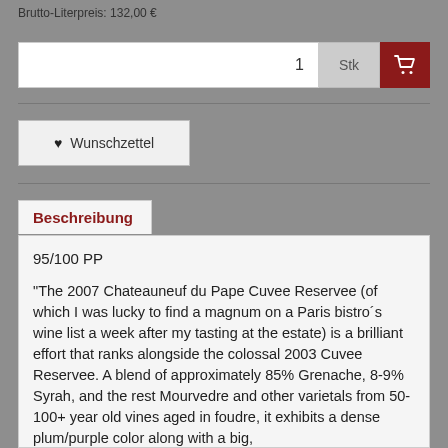Brutto-Literpreis: 132,00 €
1 Stk
♥ Wunschzettel
Beschreibung
95/100 PP
"The 2007 Chateauneuf du Pape Cuvee Reservee (of which I was lucky to find a magnum on a Paris bistro´s wine list a week after my tasting at the estate) is a brilliant effort that ranks alongside the colossal 2003 Cuvee Reservee. A blend of approximately 85% Grenache, 8-9% Syrah, and the rest Mourvedre and other varietals from 50-100+ year old vines aged in foudre, it exhibits a dense plum/purple color along with a big,